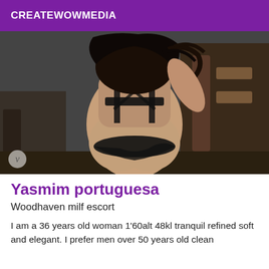CREATEWOWMEDIA
[Figure (photo): Woman in black lingerie seen from behind in a gym setting]
Yasmim portuguesa
Woodhaven milf escort
I am a 36 years old woman 1'60alt 48kl tranquil refined soft and elegant. I prefer men over 50 years old clean